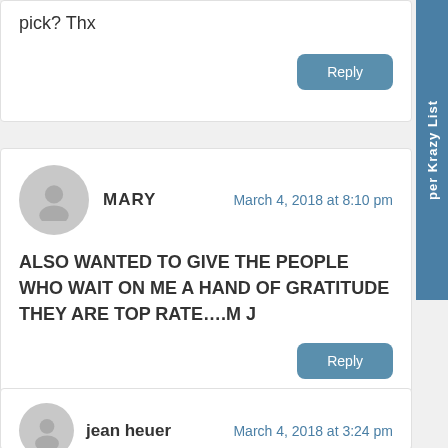pick? Thx
Reply
MARY
March 4, 2018 at 8:10 pm
ALSO WANTED TO GIVE THE PEOPLE WHO WAIT ON ME A HAND OF GRATITUDE THEY ARE TOP RATE....M J
Reply
jean heuer
March 4, 2018 at 3:24 pm